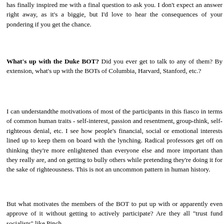has finally inspired me with a final question to ask you. I don't expect an answer right away, as it's a biggie, but I'd love to hear the consequences of your pondering if you get the chance.
What's up with the Duke BOT? Did you ever get to talk to any of them? By extension, what's up with the BOTs of Columbia, Harvard, Stanford, etc.?
I can understandthe motivations of most of the participants in this fiasco in terms of common human traits - self-interest, passion and resentment, group-think, self-righteous denial, etc. I see how people's financial, social or emotional interests lined up to keep them on board with the lynching. Radical professors get off on thinking they're more enlightened than everyone else and more important than they really are, and on getting to bully others while pretending they're doing it for the sake of righteousness. This is not an uncommon pattern in human history.
But what motivates the members of the BOT to put up with or apparently even approve of it without getting to actively participate? Are they all "trust fund socialists" like Pinch